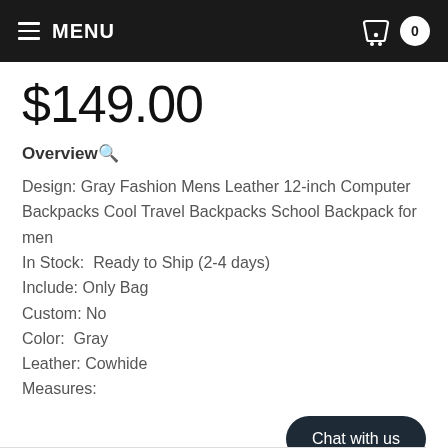MENU
$149.00
Overview🔍
Design: Gray Fashion Mens Leather 12-inch Computer Backpacks Cool Travel Backpacks School Backpack for men
In Stock:  Ready to Ship (2-4 days)
Include: Only Bag
Custom: No
Color:  Gray
Leather: Cowhide
Measures:
More
Chat with us